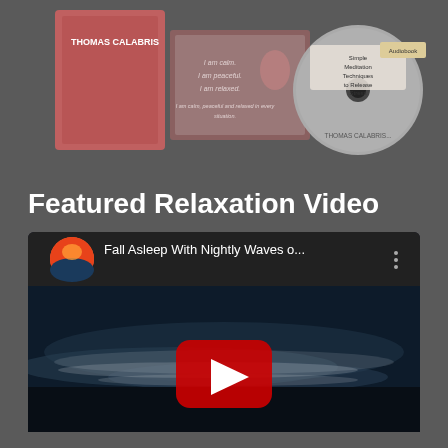[Figure (photo): Product image showing books and CD with text 'Thomas Calabris', affirmation text 'I am calm. I am peaceful. I am relaxed. I am calm, peaceful and relaxed in every situation.' and audiobook CD labeled 'Simple Meditation Techniques to Release Stress' by Thomas Calabris]
Featured Relaxation Video
[Figure (screenshot): YouTube video embed showing 'Fall Asleep With Nightly Waves o...' with a thumbnail of nighttime ocean waves and a YouTube play button overlay. Video title shown in YouTube player header with a circular sunset thumbnail on the left.]